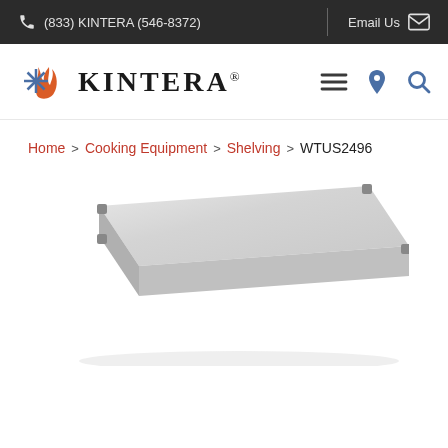(833) KINTERA (546-8372)   Email Us
[Figure (logo): Kintera logo with flame and snowflake icon and KINTERA text]
Home > Cooking Equipment > Shelving > WTUS2496
[Figure (photo): Stainless steel solid shelf (WTUS2496) viewed at a slight angle, showing flat rectangular surface with corner brackets]